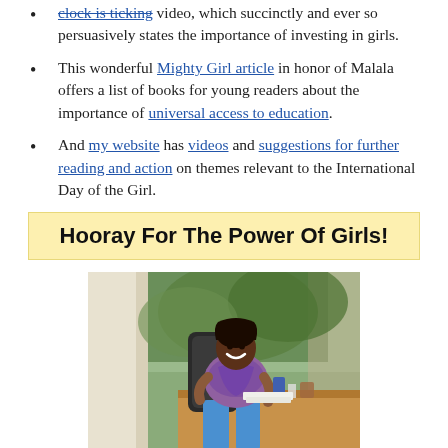clock is ticking video, which succinctly and ever so persuasively states the importance of investing in girls.
This wonderful Mighty Girl article in honor of Malala offers a list of books for young readers about the importance of universal access to education.
And my website has videos and suggestions for further reading and action on themes relevant to the International Day of the Girl.
Hooray For The Power Of Girls!
[Figure (photo): A smiling woman in a colorful top and blue jeans sitting in an office chair at a wooden desk, with green trees visible through a window in the background.]